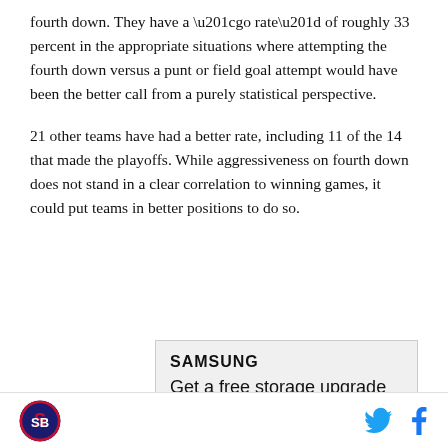fourth down. They have a “go rate” of roughly 33 percent in the appropriate situations where attempting the fourth down versus a punt or field goal attempt would have been the better call from a purely statistical perspective.
21 other teams have had a better rate, including 11 of the 14 that made the playoffs. While aggressiveness on fourth down does not stand in a clear correlation to winning games, it could put teams in better positions to do so.
[Figure (other): Samsung advertisement banner reading 'SAMSUNG' in bold and 'Get a free storage upgrade' below it, on a light grey background.]
Logo icon and social media icons (Twitter bird, Facebook f)